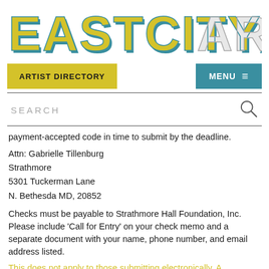[Figure (logo): EastCityArt logo in large blocky letters with yellow and teal 3D effect]
ARTIST DIRECTORY
MENU ≡
SEARCH
payment-accepted code in time to submit by the deadline.
Attn: Gabrielle Tillenburg
Strathmore
5301 Tuckerman Lane
N. Bethesda MD, 20852
Checks must be payable to Strathmore Hall Foundation, Inc. Please include ‘Call for Entry’ on your check memo and a separate document with your name, phone number, and email address listed.
This does not apply to those submitting electronically. A